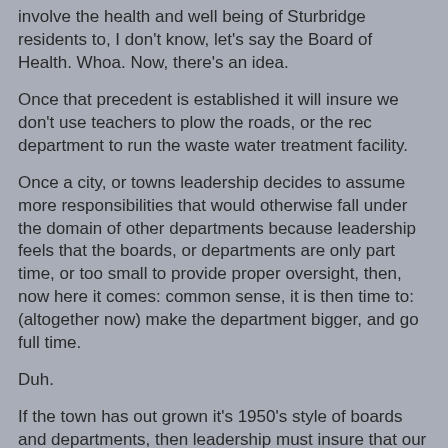involve the health and well being of Sturbridge residents to, I don't know, let's say the Board of Health. Whoa. Now, there's an idea.
Once that precedent is established it will insure we don't use teachers to plow the roads, or the rec department to run the waste water treatment facility.
Once a city, or towns leadership decides to assume more responsibilities that would otherwise fall under the domain of other departments because leadership feels that the boards, or departments are only part time, or too small to provide proper oversight, then, now here it comes: common sense, it is then time to: (altogether now) make the department bigger, and go full time.
Duh.
If the town has out grown it's 1950's style of boards and departments, then leadership must insure that our town government grows as does the town.